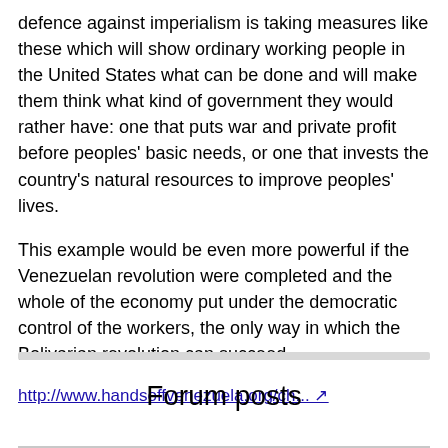defence against imperialism is taking measures like these which will show ordinary working people in the United States what can be done and will make them think what kind of government they would rather have: one that puts war and private profit before peoples' basic needs, or one that invests the country's natural resources to improve peoples' lives.
This example would be even more powerful if the Venezuelan revolution were completed and the whole of the economy put under the democratic control of the workers, the only way in which the Bolivarian revolution can succeed.
http://www.handsoffvenezuela.org/ch... ↗
Forum posts